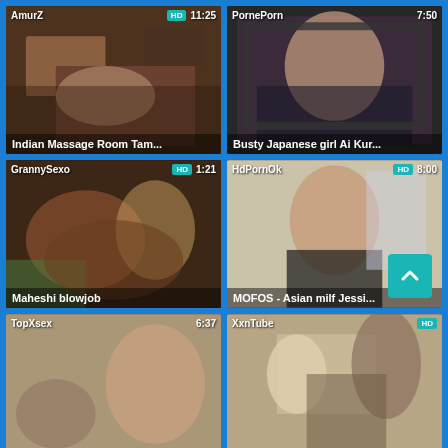[Figure (screenshot): Video thumbnail grid showing 6 adult video thumbnails in a 2x3 grid layout with site names, HD badges, durations, and titles overlaid]
AmurZ | HD | 11:25 | Indian Massage Room Tam...
PornePorn | 7:50 | Busty Japanese girl Ai Kur...
GrannySexo | HD | 1:21 | Maheshi blowjob
HdPornOk | HD | 8:00 | MOFOS - Asian milf Jessi...
TopXsex | 6:37
XxnTube | HD